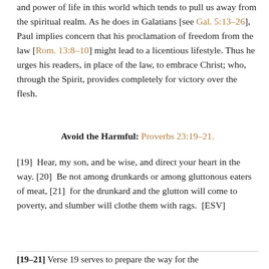and power of life in this world which tends to pull us away from the spiritual realm. As he does in Galatians [see Gal. 5:13–26], Paul implies concern that his proclamation of freedom from the law [Rom. 13:8–10] might lead to a licentious lifestyle. Thus he urges his readers, in place of the law, to embrace Christ; who, through the Spirit, provides completely for victory over the flesh.
Avoid the Harmful: Proverbs 23:19–21.
[19]  Hear, my son, and be wise, and direct your heart in the way. [20]  Be not among drunkards or among gluttonous eaters of meat, [21]  for the drunkard and the glutton will come to poverty, and slumber will clothe them with rags.  [ESV]
[19–21]  Verse 19 serves to prepare the way for the